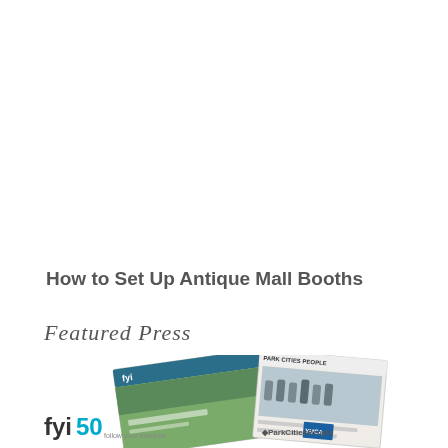How to Set Up Antique Mall Booths
Featured Press
[Figure (photo): Two overlapping magazine/website thumbnails: fyi50 website screenshot on the left showing a green outdoor scene, and Park Cities People newspaper page on the right showing a group photo. The fyi50 logo and ParkCitiesPeople logo are visible below the thumbnails.]